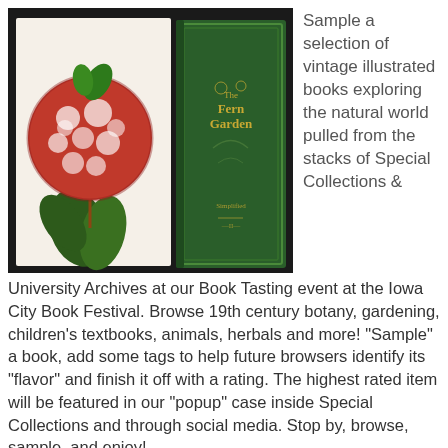[Figure (photo): Photo showing a botanical illustration of a large red flower with green leaves on a white card, alongside a vintage green hardcover book titled 'The Fern Garden', displayed on a dark background.]
Sample a selection of vintage illustrated books exploring the natural world pulled from the stacks of Special Collections & University Archives at our Book Tasting event at the Iowa City Book Festival. Browse 19th century botany, gardening, children’s textbooks, animals, herbals and more! “Sample” a book, add some tags to help future browsers identify its “flavor” and finish it off with a rating. The highest rated item will be featured in our “popup” case inside Special Collections and through social media.  Stop by, browse, sample, and enjoy!